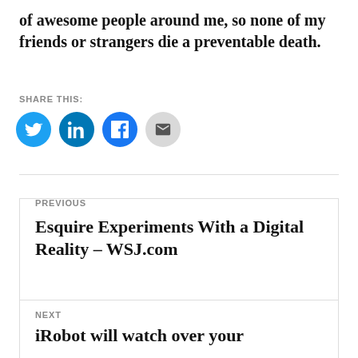of awesome people around me, so none of my friends or strangers die a preventable death.
SHARE THIS:
[Figure (infographic): Four social share icon buttons: Twitter (blue), LinkedIn (blue), Facebook (blue), Email (grey)]
PREVIOUS
Esquire Experiments With a Digital Reality – WSJ.com
NEXT
iRobot will watch over your